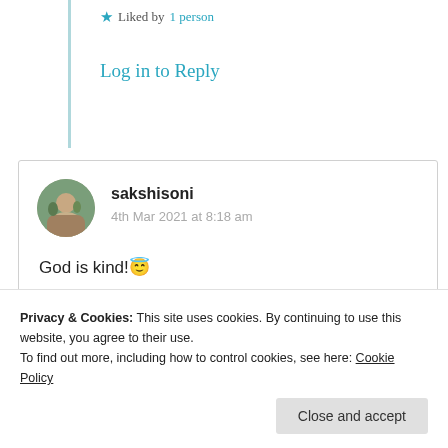★ Liked by 1 person
Log in to Reply
sakshisoni
4th Mar 2021 at 8:18 am
God is kind!😇
Beautifully written!😄
★ Liked by 4 people
Privacy & Cookies: This site uses cookies. By continuing to use this website, you agree to their use.
To find out more, including how to control cookies, see here: Cookie Policy
Close and accept
Suma Reddy